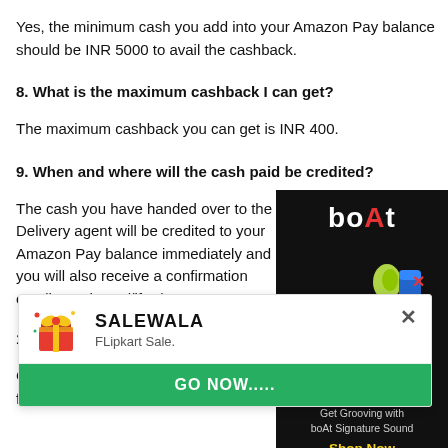Yes, the minimum cash you add into your Amazon Pay balance should be INR 5000 to avail the cashback.
8. What is the maximum cashback I can get?
The maximum cashback you can get is INR 400.
9. When and where will the cash paid be credited?
The cash you have handed over to the Delivery agent will be credited to your Amazon Pay balance immediately and you will also receive a confirmation email at: https://ift.tt/2u
[Figure (illustration): boAt brand advertisement showing headphones and earbuds with text 'Get Grooving with boAt Signature Sound' and 'Shop Now' button]
[Figure (screenshot): SALEWALA popup notification with gift icon, subtitle 'FLipkart Sale.' and a green 'GO NOW.....' button with X close button]
10. When and w
Cashback will be credited as Amazon Pay balance within 7 days from